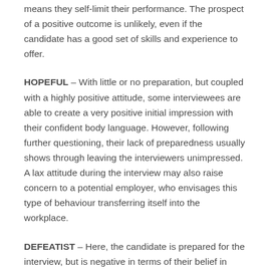means they self-limit their performance. The prospect of a positive outcome is unlikely, even if the candidate has a good set of skills and experience to offer.
HOPEFUL – With little or no preparation, but coupled with a highly positive attitude, some interviewees are able to create a very positive initial impression with their confident body language. However, following further questioning, their lack of preparedness usually shows through leaving the interviewers unimpressed. A lax attitude during the interview may also raise concern to a potential employer, who envisages this type of behaviour transferring itself into the workplace.
DEFEATIST – Here, the candidate is prepared for the interview, but is negative in terms of their belief in themselves, which makes the employer question their ability and unwilling to take the risk of offering